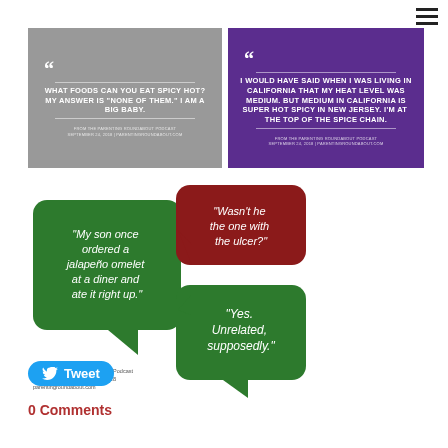[Figure (infographic): Hamburger menu icon (three horizontal lines) in top right corner]
[Figure (infographic): Gray quote card: 'WHAT FOODS CAN YOU EAT SPICY HOT? MY ANSWER IS "NONE OF THEM." I AM A BIG BABY.' FROM THE PARENTING ROUNDABOUT PODCAST SEPTEMBER 24, 2018 | PARENTINGROUNDABOUT.COM]
[Figure (infographic): Purple quote card: 'I WOULD HAVE SAID WHEN I WAS LIVING IN CALIFORNIA THAT MY HEAT LEVEL WAS MEDIUM. BUT MEDIUM IN CALIFORNIA IS SUPER HOT SPICY IN NEW JERSEY. I'M AT THE TOP OF THE SPICE CHAIN.' FROM THE PARENTING ROUNDABOUT PODCAST SEPTEMBER 24, 2018 | PARENTINGROUNDABOUT.COM]
[Figure (infographic): Dialogue graphic with speech bubbles: Green bubble left: 'My son once ordered a jalapeño omelet at a diner and ate it right up.' Red bubble right top: 'Wasn't he the one with the ulcer?' Green bubble right bottom: 'Yes. Unrelated, supposedly.' Attribution: From the Parenting Roundabout Podcast on just how hot we like it - 9/18/18 parentingroundabout.com]
Tweet
0 Comments